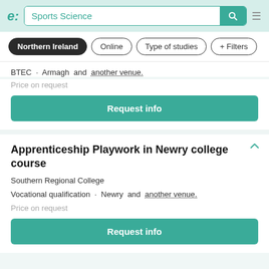e: Sports Science [search bar with search icon] ≡
Northern Ireland · Online · Type of studies · + Filters
BTEC · Armagh and another venue.
Price on request
Request info
Apprenticeship Playwork in Newry college course
Southern Regional College
Vocational qualification · Newry and another venue.
Price on request
Request info